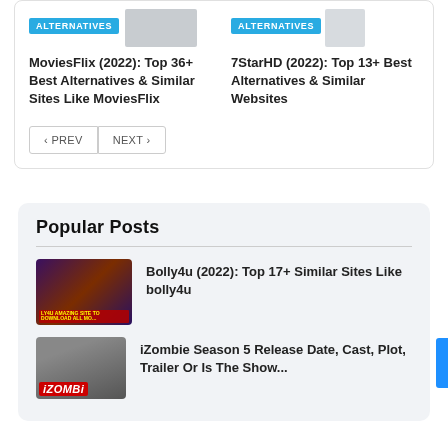[Figure (screenshot): Thumbnail image for MoviesFlix article with ALTERNATIVES badge]
MoviesFlix (2022): Top 36+ Best Alternatives & Similar Sites Like MoviesFlix
[Figure (screenshot): Thumbnail image for 7StarHD article with ALTERNATIVES badge]
7StarHD (2022): Top 13+ Best Alternatives & Similar Websites
< PREV   NEXT >
Popular Posts
[Figure (screenshot): Thumbnail image for Bolly4u article showing movie download site]
Bolly4u (2022): Top 17+ Similar Sites Like bolly4u
[Figure (screenshot): Thumbnail image for iZombie article showing zombie character]
iZombie Season 5 Release Date, Cast, Plot, Trailer Or Is The Show...